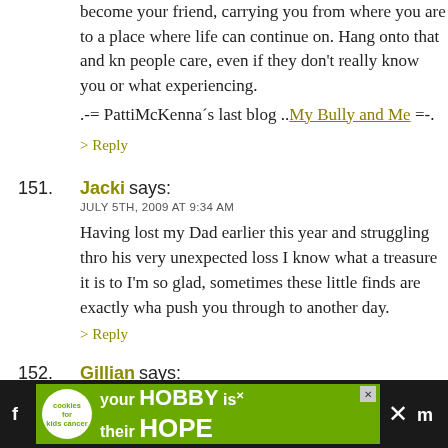become your friend, carrying you from where you are to a place where life can continue on. Hang onto that and know people care, even if they don't really know you or what you're experiencing.
.-= PattiMcKenna's last blog ..My Bully and Me =-.
> Reply
151. Jacki says: JULY 5TH, 2009 AT 9:34 AM — Having lost my Dad earlier this year and struggling through his very unexpected loss I know what a treasure it is to ... I'm so glad, sometimes these little finds are exactly what push you through to another day.
> Reply
152. Gillian says: JULY 5TH, 2009 AT 10:42 AM — She looks like Cindy-Loo-Who! That curl!
[Figure (screenshot): Advertisement banner at bottom: green background with 'your HOBBY is their HOPE' text and cookies for kids cancer logo]